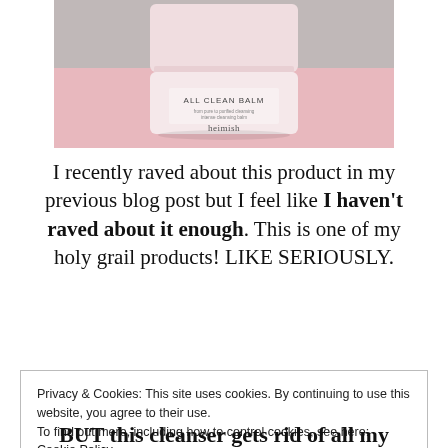[Figure (photo): A pink jar of Heimish All Clean Balm product on a pink and grey background]
I recently raved about this product in my previous blog post but I feel like I haven't raved about it enough. This is one of my holy grail products! LIKE SERIOUSLY.
Privacy & Cookies: This site uses cookies. By continuing to use this website, you agree to their use.
To find out more, including how to control cookies, see here:
Cookie Policy
Close and accept
BUT this cleanser gets rid of all my